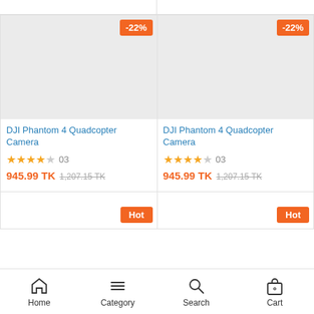[Figure (screenshot): E-commerce product listing page showing two product cards for DJI Phantom 4 Quadcopter Camera with -22% discount badges, star ratings, prices, and a bottom navigation bar with Home, Category, Search, Cart icons. Two partial cards below show Hot badges.]